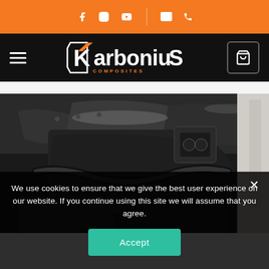Karbonius Composites website header with social media icons (Facebook, Instagram, YouTube, email, phone) on orange bar, and logo with hamburger menu and cart
[Figure (photo): Close-up photo of a carbon fiber engine bay component/air intake cover installed in a car engine compartment]
We use cookies to ensure that we give the best user experience on our website. If you continue using this site we will assume that you agree.